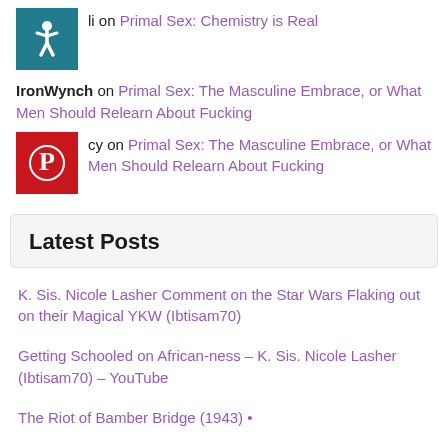li on Primal Sex: Chemistry is Real
IronWynch on Primal Sex: The Masculine Embrace, or What Men Should Relearn About Fucking
cy on Primal Sex: The Masculine Embrace, or What Men Should Relearn About Fucking
Latest Posts
K. Sis. Nicole Lasher Comment on the Star Wars Flaking out on their Magical YKW (Ibtisam70)
Getting Schooled on African-ness – K. Sis. Nicole Lasher (Ibtisam70) – YouTube
The Riot of Bamber Bridge (1943) •
Historical, Mythological & Social Origins of the Satanic Panic and How it Nearly Destroyed My Life – YouTube